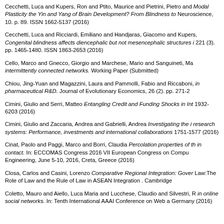Cecchetti, Luca and Kupers, Ron and Ptito, Maurice and Pietrini, Pietro and Modal Plasticity the Yin and Yang of Brain Development? From Blindness to Neuroscience, 10. p. 89. ISSN 1662-5137 (2016)
Cecchetti, Luca and Ricciardi, Emiliano and Handjaras, Giacomo and Kupers Congenital blindness affects diencephalic but not mesencephalic structures i 221 (3). pp. 1465-1480. ISSN 1863-2653 (2016)
Cello, Marco and Gnecco, Giorgio and Marchese, Mario and Sanguineti, Ma intermittently connected networks. Working Paper (Submitted)
Chiou, Jing-Yuan and Magazzini, Laura and Pammolli, Fabio and Riccaboni, in pharmaceutical R&D. Journal of Evolutionary Economics, 26 (2). pp. 271-2
Cimini, Giulio and Serri, Matteo Entangling Credit and Funding Shocks in Int 1932-6203 (2016)
Cimini, Giulio and Zaccaria, Andrea and Gabrielli, Andrea Investigating the i research systems: Performance, investments and international collaborations 1751-1577 (2016)
Cinat, Paolo and Paggi, Marco and Borri, Claudia Percolation properties of th in contact. In: ECCOMAS Congress 2016 VII European Congress on Compu Engineering, June 5-10, 2016, Creta, Greece (2016)
Closa, Carlos and Casini, Lorenzo Comparative Regional Integration: Gover Law:The Role of Law and the Rule of Law in ASEAN Integration . Cambridge
Coletto, Mauro and Aiello, Luca Maria and Lucchese, Claudio and Silvestri, R in online social networks. In: Tenth International AAAI Conference on Web a Germany (2016)